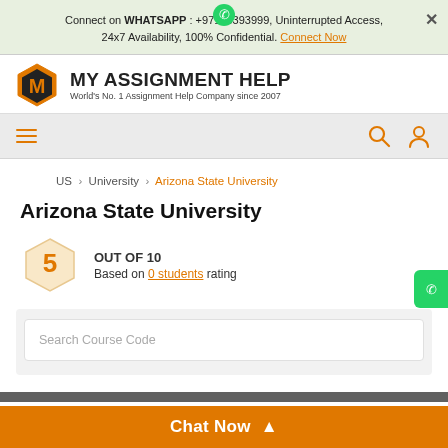Connect on WHATSAPP : +97143393999, Uninterrupted Access, 24x7 Availability, 100% Confidential. Connect Now
[Figure (logo): My Assignment Help logo with hexagon M icon and text MY ASSIGNMENT HELP, World's No. 1 Assignment Help Company since 2007]
[Figure (infographic): Navigation bar with hamburger menu, search icon, and user icon]
US > University > Arizona State University
Arizona State University
5 OUT OF 10 Based on 0 students rating
[Figure (screenshot): Search Course Code input field]
Chat Now